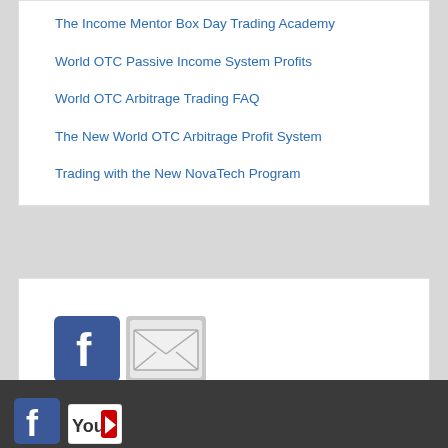The Income Mentor Box Day Trading Academy
World OTC Passive Income System Profits
World OTC Arbitrage Trading FAQ
The New World OTC Arbitrage Profit System
Trading with the New NovaTech Program
[Figure (logo): Facebook logo icon (blue square with white f) and email envelope icon side by side]
[Figure (logo): Facebook icon and YouTube icon in dark footer bar]